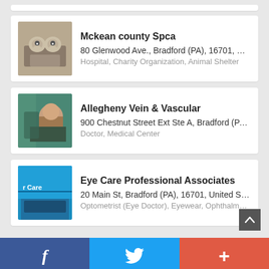Mckean county Spca | 80 Glenwood Ave., Bradford (PA), 16701, Unite... | Hospital, Charity Organization, Animal Shelter
Allegheny Vein & Vascular | 900 Chestnut Street Ext Ste A, Bradford (PA), 1... | Doctor, Medical Center
Eye Care Professional Associates | 20 Main St, Bradford (PA), 16701, United States | Optometrist (Eye Doctor), Eyewear, Ophthalmologist
Business
f  (twitter bird)  +